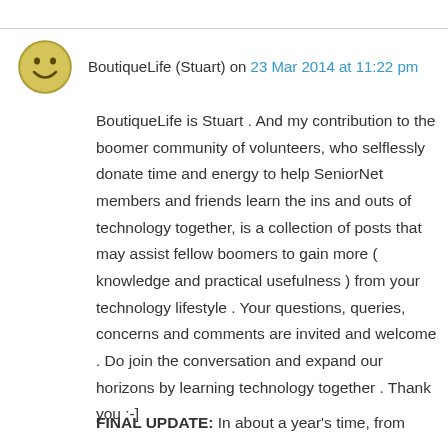BoutiqueLife (Stuart) on 23 Mar 2014 at 11:22 pm
BoutiqueLife is Stuart . And my contribution to the boomer community of volunteers, who selflessly donate time and energy to help SeniorNet members and friends learn the ins and outs of technology together, is a collection of posts that may assist fellow boomers to gain more ( knowledge and practical usefulness ) from your technology lifestyle . Your questions, queries, concerns and comments are invited and welcome . Do join the conversation and expand our horizons by learning technology together . Thank you :-]
FINAL UPDATE: In about a year's time, from